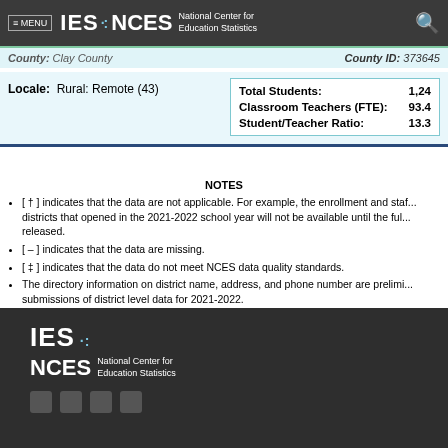≡ MENU  IES ·· NCES  National Center for Education Statistics
County: Clay County   County ID: 373645
Locale: Rural: Remote (43)
|  |  |
| --- | --- |
| Total Students: | 1,24... |
| Classroom Teachers (FTE): | 93.4 |
| Student/Teacher Ratio: | 13.3 |
NOTES
[ † ] indicates that the data are not applicable. For example, the enrollment and staffing data for districts that opened in the 2021-2022 school year will not be available until the full data are released.
[ – ] indicates that the data are missing.
[ ‡ ] indicates that the data do not meet NCES data quality standards.
The directory information on district name, address, and phone number are preliminary based on submissions of district level data for 2021-2022.
Data provided on student membership and staffing are from the official district level...
Source: CCD Public school district data for the 2020-2021, 2021-2022
IES ·· NCES National Center for Education Statistics